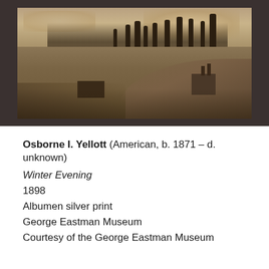[Figure (photo): Sepia-toned photograph mounted on dark grey board, showing a winter evening landscape with bare trees, a small barn on the left, a house with chimneys on the right hillside, overcast sky.]
Osborne I. Yellott (American, b. 1871 – d. unknown)
Winter Evening
1898
Albumen silver print
George Eastman Museum
Courtesy of the George Eastman Museum